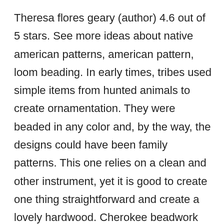Theresa flores geary (author) 4.6 out of 5 stars. See more ideas about native american patterns, american pattern, loom beading. In early times, tribes used simple items from hunted animals to create ornamentation. They were beaded in any color and, by the way, the designs could have been family patterns. This one relies on a clean and other instrument, yet it is good to create one thing straightforward and create a lovely hardwood. Cherokee beadwork sampler, made by girls from the cherokee female seminary, oklahoma, ca. See more ideas about beading patterns, native american beadwork, native american beading. Native american brick stitch earrings with seed beads traditional native american designs have always been a great inspiration